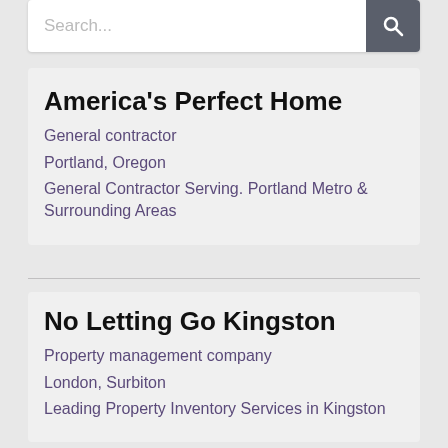[Figure (screenshot): Search bar with text input and dark search button]
America's Perfect Home
General contractor
Portland, Oregon
General Contractor Serving. Portland Metro & Surrounding Areas
No Letting Go Kingston
Property management company
London, Surbiton
Leading Property Inventory Services in Kingston